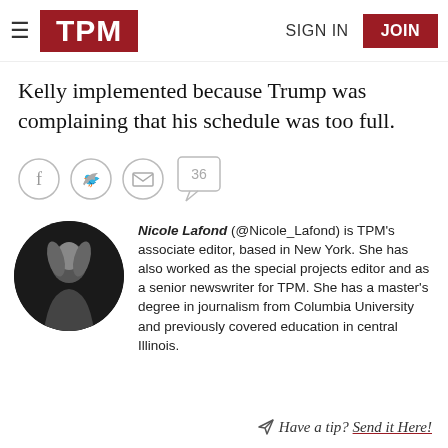TPM | SIGN IN | JOIN
Kelly implemented because Trump was complaining that his schedule was too full.
[Figure (other): Social sharing icons: Facebook, Twitter, Email circles, and a comment bubble showing 36]
Nicole Lafond (@Nicole_Lafond) is TPM's associate editor, based in New York. She has also worked as the special projects editor and as a senior newswriter for TPM. She has a master's degree in journalism from Columbia University and previously covered education in central Illinois.
Have a tip? Send it Here!